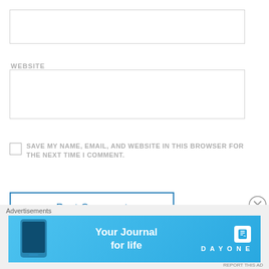[Figure (screenshot): Text input box (email field area), empty]
WEBSITE
[Figure (screenshot): Text input box (website field), empty]
SAVE MY NAME, EMAIL, AND WEBSITE IN THIS BROWSER FOR THE NEXT TIME I COMMENT.
Post Comment
Advertisements
[Figure (other): Day One app advertisement banner: 'Your Journal for life' on a blue background with a phone graphic and Day One logo]